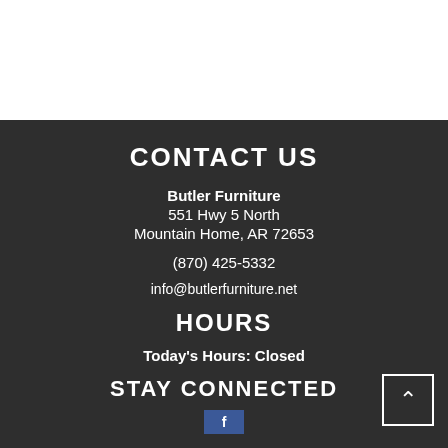CONTACT US
Butler Furniture
551 Hwy 5 North
Mountain Home, AR 72653
(870) 425-5332
info@butlerfurniture.net
HOURS
Today's Hours: Closed
STAY CONNECTED
[Figure (logo): Facebook social media button icon]